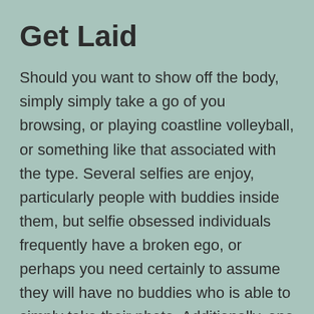Get Laid
Should you want to show off the body, simply simply take a go of you browsing, or playing coastline volleyball, or something like that associated with the type. Several selfies are enjoy, particularly people with buddies inside them, but selfie obsessed individuals frequently have a broken ego, or perhaps you need certainly to assume they will have no buddies who is able to simply take their photo. Additionally, one shot of both you and your niece, or one shot of both you and your dog,